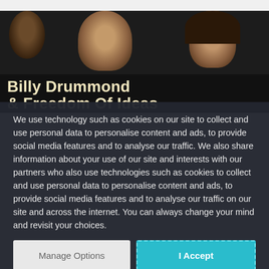[Figure (photo): Dark background with two people's faces visible from above, and large bold text reading 'Billy Drummond & Freedom Of Ideas' overlaid on black background]
We use technology such as cookies on our site to collect and use personal data to personalise content and ads, to provide social media features and to analyse our traffic. We also share information about your use of our site and interests with our partners who also use technologies such as cookies to collect and use personal data to personalise content and ads, to provide social media features and to analyse our traffic on our site and across the internet. You can always change your mind and revisit your choices.
Manage Options
I Accept